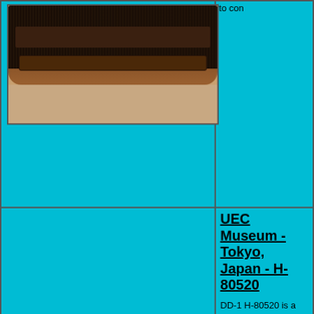[Figure (photo): Photograph of a vintage wooden table model radio set (DD-1 H-80520), viewed from the front, showing wooden cabinet with grille, placed on a tiled floor. Background is cyan/turquoise.]
to con
[Figure (photo): Second photo area (cyan/turquoise, appears to be placeholder or additional view of the radio set).]
UEC Museum - Tokyo, Japan  - H-80520
DD-1 H-80520 is a table model set that is now located in the UEC Museum in Tokyo, Japan. Originally